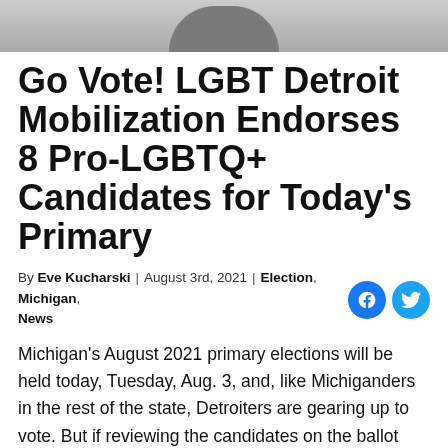[Figure (photo): Top portion of a person's photo, cropped to show only the upper body/head silhouette against a gray background]
Go Vote! LGBT Detroit Mobilization Endorses 8 Pro-LGBTQ+ Candidates for Today's Primary
By Eve Kucharski | August 3rd, 2021 | Election, Michigan, News
Michigan's August 2021 primary elections will be held today, Tuesday, Aug. 3, and, like Michiganders in the rest of the state, Detroiters are gearing up to vote. But if reviewing the candidates on the ballot